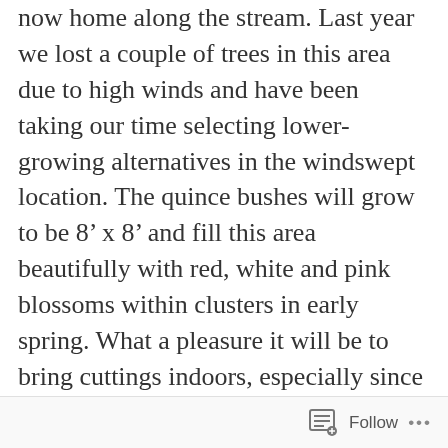now home along the stream. Last year we lost a couple of trees in this area due to high winds and have been taking our time selecting lower-growing alternatives in the windswept location. The quince bushes will grow to be 8’ x 8’ and fill this area beautifully with red, white and pink blossoms within clusters in early spring. What a pleasure it will be to bring cuttings indoors, especially since this variety is thornless. First photo shows our babies prior to planting and second is from a site called The Lovely Plants:
Follow ···